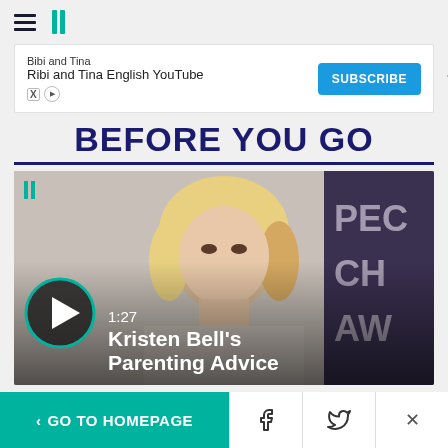HuffPost navigation header with hamburger menu and logo
[Figure (screenshot): Advertisement banner for Bibi and Tina English YouTube channel with Subscribe button]
BEFORE YOU GO
[Figure (screenshot): Video thumbnail showing Kristen Bell at an event, with play button overlay, duration 1:27, and title 'Kristen Bell's Parenting Advice']
< GO TO HOMEPAGE | Facebook | Twitter | X